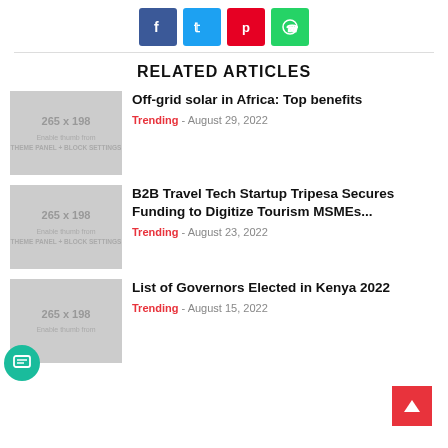[Figure (other): Social share buttons row: Facebook (blue), Twitter (cyan), Pinterest (red), WhatsApp (green)]
RELATED ARTICLES
[Figure (other): Placeholder thumbnail 265 x 198, Enable thumb from THEME PANEL + BLOCK SETTINGS]
Off-grid solar in Africa: Top benefits
Trending - August 29, 2022
[Figure (other): Placeholder thumbnail 265 x 198, Enable thumb from THEME PANEL + BLOCK SETTINGS]
B2B Travel Tech Startup Tripesa Secures Funding to Digitize Tourism MSMEs...
Trending - August 23, 2022
[Figure (other): Placeholder thumbnail 265 x 198, Enable thumb from THEME PANEL + BLOCK SETTINGS]
List of Governors Elected in Kenya 2022
Trending - August 15, 2022